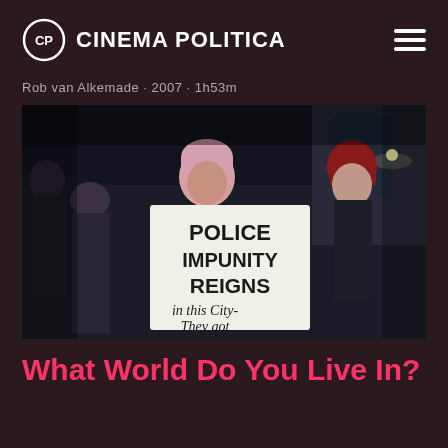CINEMA POLITICA
Rob van Alkemade · 2007 · 1h53m
[Figure (photo): Film still showing protesters at night, one holding a sign reading 'POLICE IMPUNITY REIGNS in this City- They got']
What World Do You Live In?